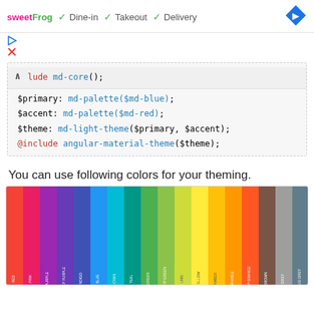[Figure (screenshot): sweetFrog ad bar with Dine-in, Takeout, Delivery checkmarks and navigation arrow]
[Figure (screenshot): Small play and close icons]
lude md-core();
$primary: md-palette($md-blue);
$accent: md-palette($md-red);
$theme: md-light-theme($primary, $accent);
@include angular-material-theme($theme);
You can use following colors for your theming.
[Figure (infographic): Color palette swatches showing material design colors: red, pink, purple, deep-purple, indigo, cyan, teal, green, light-green, lime, yellow, amber, orange, deep-orange, brown, grey, blue-grey]